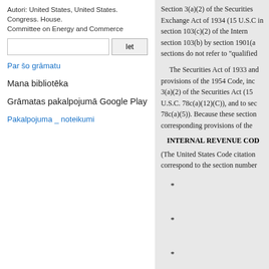Autori: United States, United States. Congress. House. Committee on Energy and Commerce
[search box with Iet button]
Par šo grāmatu
Mana bibliotēka
Grāmatas pakalpojumā Google Play
Pakalpojuma _ noteikumi
Section 3(a)(2) of the Securities Exchange Act of 1934 (15 U.S.C in section 103(c)(2) of the Intern section 103(b) by section 1901(a sections do not refer to "qualified
The Securities Act of 1933 and provisions of the 1954 Code, inc 3(a)(2) of the Securities Act (15 U.S.C. 78c(a)(12)(C)), and to sec 78c(a)(5)). Because these section corresponding provisions of the
INTERNAL REVENUE COD
(The United States Code citation correspond to the section number
*

*

*